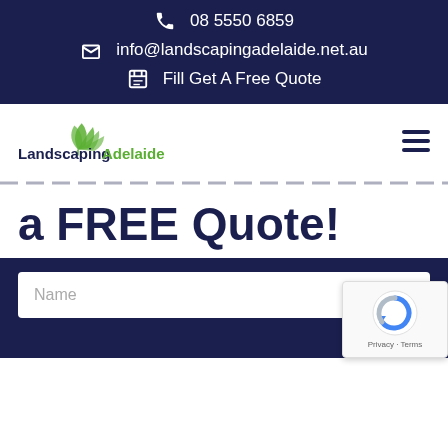08 5550 6859
info@landscapingadelaide.net.au
Fill Get A Free Quote
[Figure (logo): Landscaping Adelaide logo with green leaf SVG and text 'Landscaping Adelaide']
a FREE Quote!
[Figure (screenshot): Dark navy form area with a white Name input field and Google reCAPTCHA badge in bottom right corner showing Privacy · Terms]